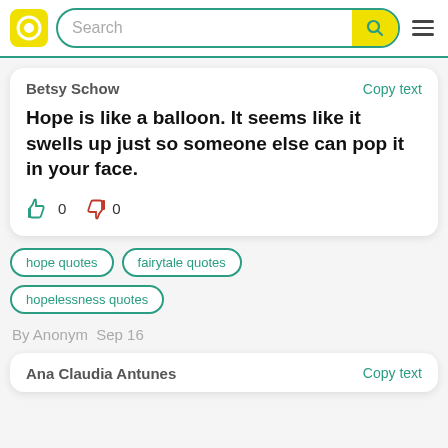Search
Betsy Schow — Copy text
Hope is like a balloon. It seems like it swells up just so someone else can pop it in your face.
hope quotes
fairytale quotes
hopelessness quotes
By Anonym  Sep 16
Ana Claudia Antunes — Copy text